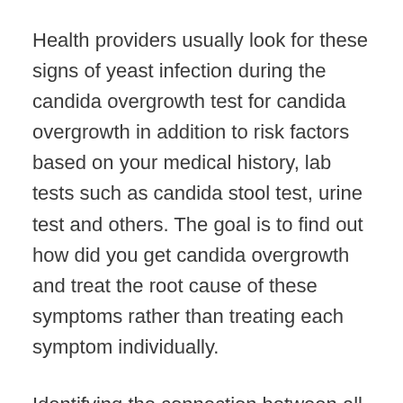Health providers usually look for these signs of yeast infection during the candida overgrowth test for candida overgrowth in addition to risk factors based on your medical history, lab tests such as candida stool test, urine test and others. The goal is to find out how did you get candida overgrowth and treat the root cause of these symptoms rather than treating each symptom individually.
Identifying the connection between all the symptoms and the candida overgrowth problem is sometimes challenging. One example is candida in men which is very common, although often overlooked. A lot